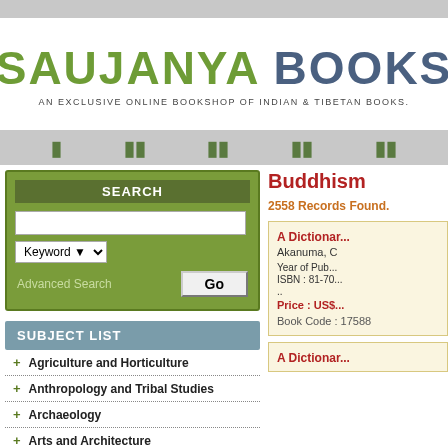[Figure (logo): Saujanya Books logo - An Exclusive Online Bookshop of Indian & Tibetan Books]
SEARCH
SUBJECT LIST
+ Agriculture and Horticulture
+ Anthropology and Tribal Studies
+ Archaeology
+ Arts and Architecture
+ Astrology and Astronomy
Buddhism
2558 Records Found.
A Dictionar...
Akanuma, C
Year of Pub...
ISBN : 81-70...
..
Price : US$...
Book Code : 17588
A Dictionar...